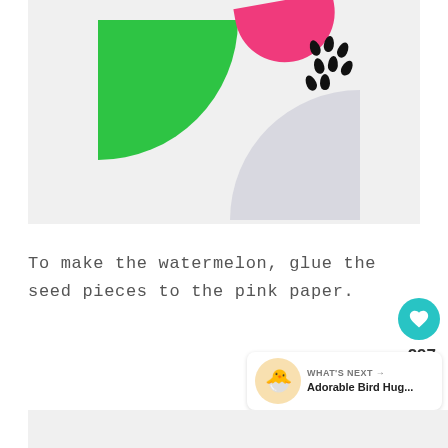[Figure (photo): Photo of paper craft watermelon pieces on a white background: green quarter-circle, pink curved piece at top, black seeds, and a light gray/lavender quarter-circle shape]
To make the watermelon, glue the seed pieces to the pink paper.